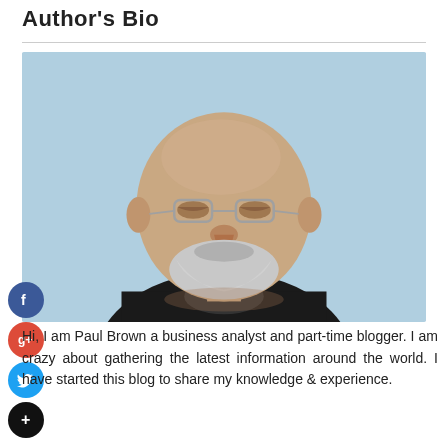Author's Bio
[Figure (photo): Portrait photo of a middle-aged man with glasses, grey-white beard and mostly bald head, smiling, wearing a dark jacket, against a light blue background.]
Hi, I am Paul Brown a business analyst and part-time blogger. I am crazy about gathering the latest information around the world. I have started this blog to share my knowledge & experience.